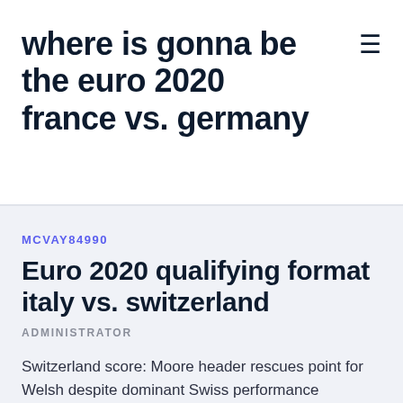where is gonna be the euro 2020 france vs. germany
MCVAY84990
Euro 2020 qualifying format italy vs. switzerland
ADMINISTRATOR
Switzerland score: Moore header rescues point for Welsh despite dominant Swiss performance Jonathan